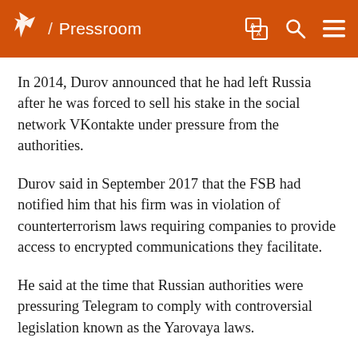/ Pressroom
In 2014, Durov announced that he had left Russia after he was forced to sell his stake in the social network VKontakte under pressure from the authorities.
Durov said in September 2017 that the FSB had notified him that his firm was in violation of counterterrorism laws requiring companies to provide access to encrypted communications they facilitate.
He said at the time that Russian authorities were pressuring Telegram to comply with controversial legislation known as the Yarovaya laws.
Rights groups call the laws a draconian infringement